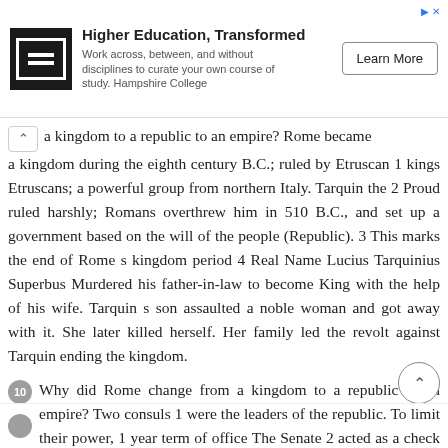[Figure (other): Advertisement banner for Hampshire College: 'Higher Education, Transformed. Work across, between, and without disciplines to curate your own course of study. Hampshire College' with a Learn More button and a logo.]
a kingdom to a republic to an empire? Rome became a kingdom during the eighth century B.C.; ruled by Etruscan 1 kings Etruscans; a powerful group from northern Italy. Tarquin the 2 Proud ruled harshly; Romans overthrew him in 510 B.C., and set up a government based on the will of the people (Republic). 3 This marks the end of Rome s kingdom period 4 Real Name Lucius Tarquinius Superbus Murdered his father-in-law to become King with the help of his wife. Tarquin s son assaulted a noble woman and got away with it. She later killed herself. Her family led the revolt against Tarquin ending the kingdom.
10 Why did Rome change from a kingdom to a republic to an empire? Two consuls 1 were the leaders of the republic. To limit their power, 1 year term of office The Senate 2 acted as a check to their power